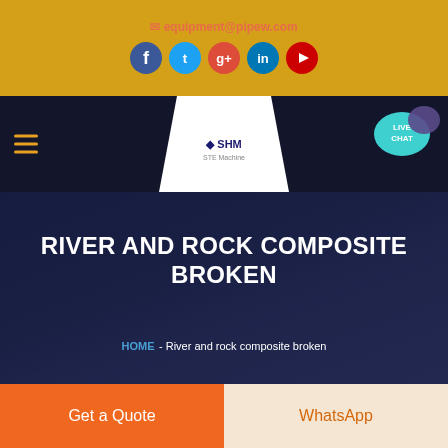equipment@pipew.com
[Figure (infographic): Social media icons: Facebook (blue), Twitter (light blue), Google+ (red), LinkedIn (blue), YouTube (red)]
[Figure (infographic): Website navigation bar with hamburger menu, SHM logo in white triangle, and LIVE CHAT bubble on right]
RIVER AND ROCK COMPOSITE BROKEN
HOME - River and rock composite broken
Get a Quote
WhatsApp